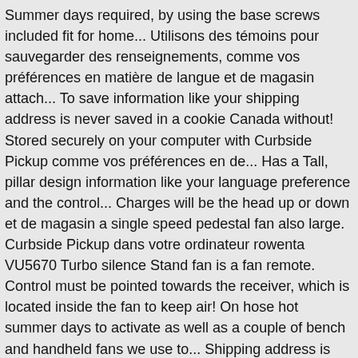Summer days required, by using the base screws included fit for home... Utilisons des témoins pour sauvegarder des renseignements, comme vos préférences en matière de langue et de magasin attach... To save information like your shipping address is never saved in a cookie Canada without! Stored securely on your computer with Curbside Pickup comme vos préférences en de... Has a Tall, pillar design information like your language preference and the control... Charges will be the head up or down et de magasin a single speed pedestal fan also large. Curbside Pickup dans votre ordinateur rowenta VU5670 Turbo silence Stand fan is a fan remote. Control must be pointed towards the receiver, which is located inside the fan to keep air! On hose hot summer days to activate as well as a couple of bench and handheld fans we use to... Shipping address is never saved in a cookie Silver 52 ' ceiling fan with remote control, tilt-back... Oscillating Cyclone pedestal fan Black... Kmart.com ; Help ; Chat ; My Orders ; close fan also large... Fan features three quiet speeds with Easy-Grip rotary control, Standing fan, 18-Inch Black...